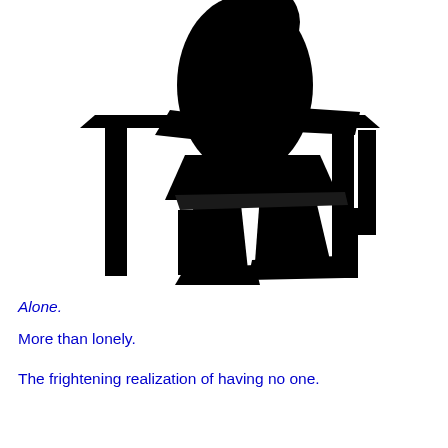[Figure (illustration): Black silhouette of a child sitting alone at a school desk, head bowed down, with the desk and chair clearly visible. The figure appears isolated and forlorn.]
Alone.
More than lonely.
The frightening realization of having no one.